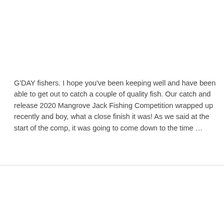G'DAY fishers. I hope you've been keeping well and have been able to get out to catch a couple of quality fish. Our catch and release 2020 Mangrove Jack Fishing Competition wrapped up recently and boy, what a close finish it was! As we said at the start of the comp, it was going to come down to the time …
Read More »
Tin Can Bay fishing refreshed
May 21, 2020